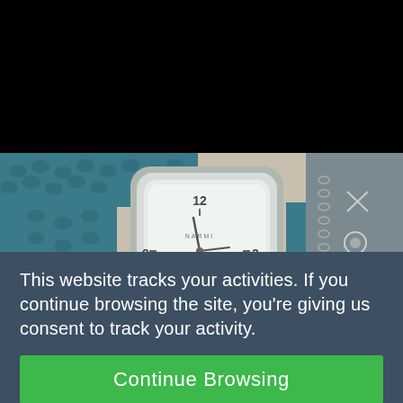[Figure (photo): Close-up photo of a wrap watch with a teal/blue snakeskin leather strap and a silver square-faced watch, with charm bracelet alongside. Photo is partially obscured by a black overlay at the top.]
This website tracks your activities. If you continue browsing the site, you're giving us consent to track your activity.
Continue Browsing